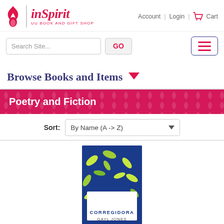[Figure (logo): inSpirit UU Book and Gift Shop logo with flame icon]
Account | Login | Cart
[Figure (screenshot): Search bar with 'Search Site...' input, GO button, and hamburger menu button]
Browse Books and Items ▼
Poetry and Fiction
Sort: By Name (A -> Z)
[Figure (photo): Book cover of Corregidora by Gayl Jones — dark blue background with yellow and green leaf/feather shapes, white text showing CORREGIDORA and GAYL JONES]